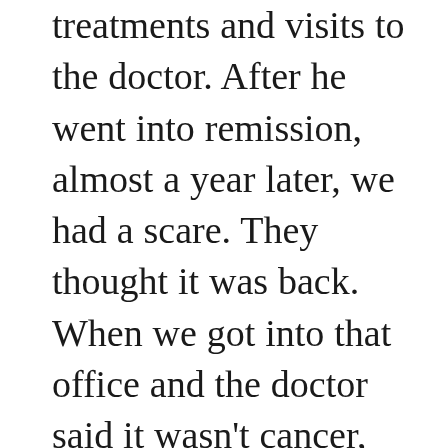treatments and visits to the doctor. After he went into remission, almost a year later, we had a scare. They thought it was back. When we got into that office and the doctor said it wasn't cancer, just a virus they were picking up, Dad told the doctor he knew it wasn't...God told him it wasn't. For me, God was there the entire time and still